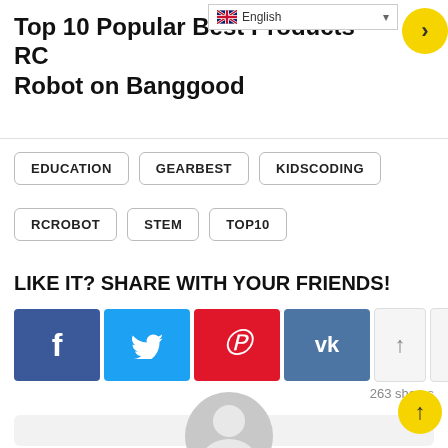Top 10 Popular Best Products RC Robot on Banggood
EDUCATION
GEARBEST
KIDSCODING
RCROBOT
STEM
TOP10
LIKE IT? SHARE WITH YOUR FRIENDS!
263 shares
[Figure (illustration): Default avatar placeholder with grey circle and person silhouette]